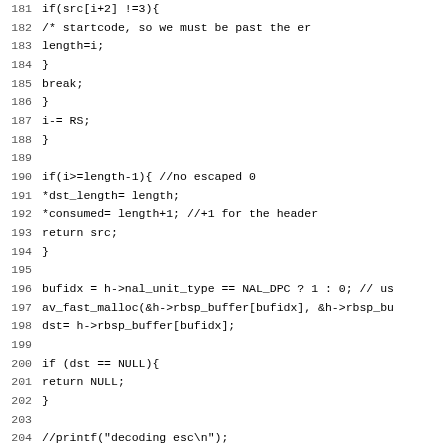[Figure (screenshot): Source code listing in monospace font showing C code lines 181-212, with line numbers on the left and code on the right. The code shows logic for parsing NAL units including start code detection, buffer allocation, escape removal, and memory copy operations.]